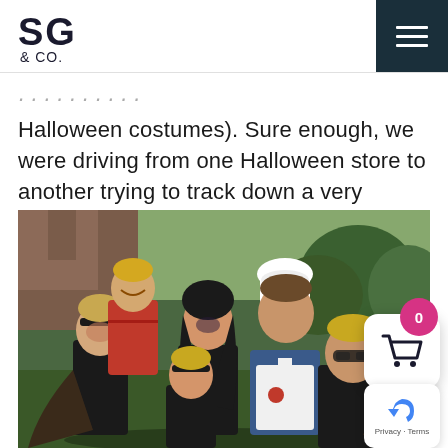SG & CO.
Halloween costumes). Sure enough, we were driving from one Halloween store to another trying to track down a very specific costume.
[Figure (photo): Family photo in Halloween costumes outdoors. Group of five people: two boys wearing bat costumes with face paint and headbands, a woman in a black dress with long dark hair and face paint, a man wearing a white chef's hat and apron, and a younger boy with a headband. Trees and a brick building visible in the background.]